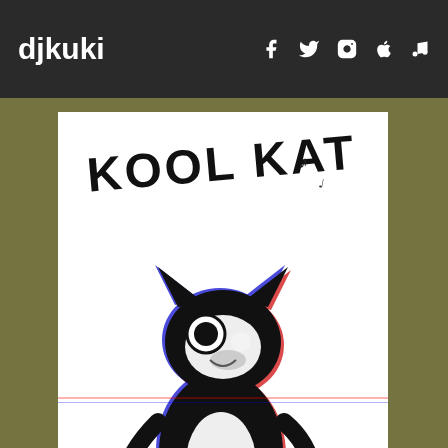djkuki
[Figure (illustration): Album cover art for 'Kool Kat' by DJ Kuki. White background with cartoon cat character and 'KOOL KAT' text at top and 'DJ KUKI' text at bottom.]
[Figure (illustration): Album cover art with 'ICY' text rotated vertically on dark background with psychedelic circular waveform patterns in teal/green and pink colors.]